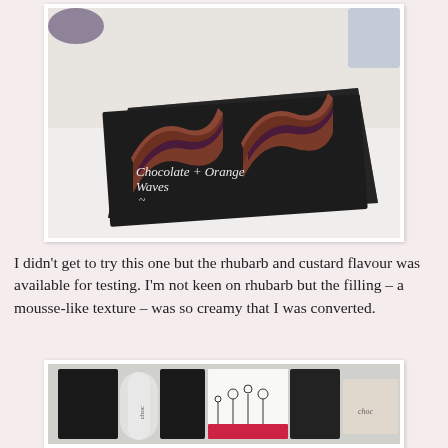[Figure (photo): Photo of two chocolate orange wave-shaped desserts on a dark slate board. The slate has white chalked text reading 'Chocolate + Orange Waves' with a tilde symbol.]
I didn't get to try this one but the rhubarb and custard flavour was available for testing. I'm not keen on rhubarb but the filling – a mousse-like texture – was so creamy that I was converted.
[Figure (photo): Photo of packaged chocolate products in black and white boxes with illustrated label designs.]